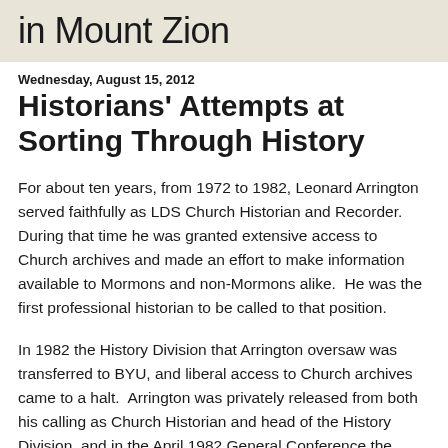in Mount Zion
Wednesday, August 15, 2012
Historians' Attempts at Sorting Through History
For about ten years, from 1972 to 1982, Leonard Arrington served faithfully as LDS Church Historian and Recorder.  During that time he was granted extensive access to Church archives and made an effort to make information available to Mormons and non-Mormons alike.  He was the first professional historian to be called to that position.
In 1982 the History Division that Arrington oversaw was transferred to BYU, and liberal access to Church archives came to a halt.  Arrington was privately released from both his calling as Church Historian and head of the History Division, and in the April 1982 General Conference the standard public announcement of